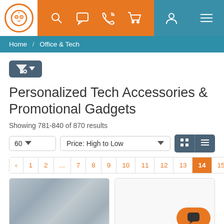[Figure (screenshot): Website navigation bar with logo, search/chat/phone/cart icons on orange background, and user/menu icons on teal background]
Home / Office & Tech
[Figure (other): Filter button with funnel icon]
Personalized Tech Accessories & Promotional Gadgets
Showing 781-840 of 870 results
[Figure (other): Controls row: per-page selector showing 60, sort selector showing Price: High to Low, and grid/list view toggle buttons]
[Figure (other): Pagination: < 1 2 ... 7 8 9 10 11 12 13 [14] 15 >]
[Figure (photo): Blurred product image on left card]
[Figure (photo): Right product card with chat/message floating button in orange]